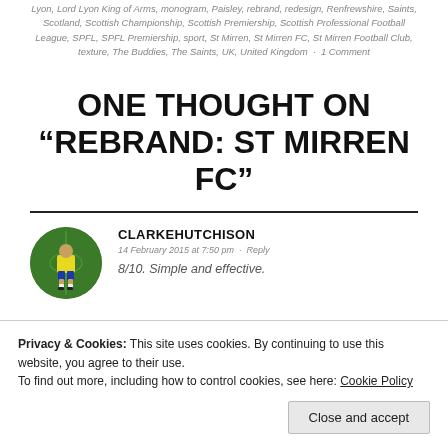Lyon, Lord Lyon King of Arms, monogram, Paisley, rebrand, redesign, Renfrewshire, Saints, Scotland, Scottish Championship, Scottish Premiership, Scottish Professional Football League, SPFL, SPFL Premiership, sport, St Mirren, St Mirren FC, St Mirren Football Club, texture, The Buddies, The Saints, UK, United Kingdom · 1 Comment
ONE THOUGHT ON "REBRAND: ST MIRREN FC"
CLARKEHUTCHISON
14 February 2015 at 7:50 pm · Reply
8/10. Simple and effective.
Privacy & Cookies: This site uses cookies. By continuing to use this website, you agree to their use. To find out more, including how to control cookies, see here: Cookie Policy
Close and accept